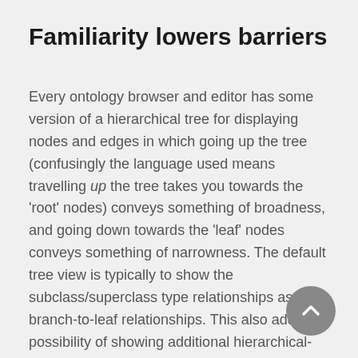Familiarity lowers barriers
Every ontology browser and editor has some version of a hierarchical tree for displaying nodes and edges in which going up the tree (confusingly the language used means travelling up the tree takes you towards the 'root' nodes) conveys something of broadness, and going down towards the 'leaf' nodes conveys something of narrowness. The default tree view is typically to show the subclass/superclass type relationships as branch-to-leaf relationships. This also adds the possibility of showing additional hierarchical-like relationships, such as part of, in a similar manner, such as the examples shown below